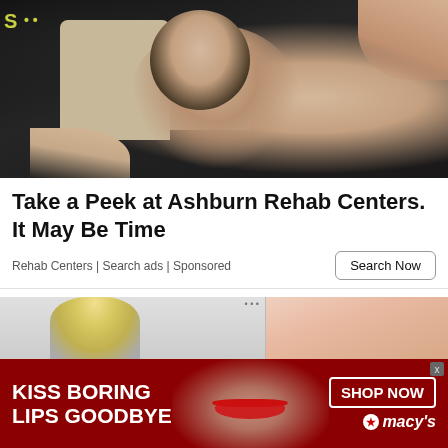[Figure (photo): Dark photo showing a woman in a car interior being grabbed or pushed by hands, dramatic lighting]
Take a Peek at Ashburn Rehab Centers. It May Be Time
Rehab Centers | Search ads | Sponsored
[Figure (photo): Two side-by-side thumbnail photos: left shows a blonde person, right shows a close-up of skin/body]
[Figure (photo): Macy's advertisement banner: dark red background with woman's face showing red lips. Text reads KISS BORING LIPS GOODBYE, SHOP NOW, macys logo with star]